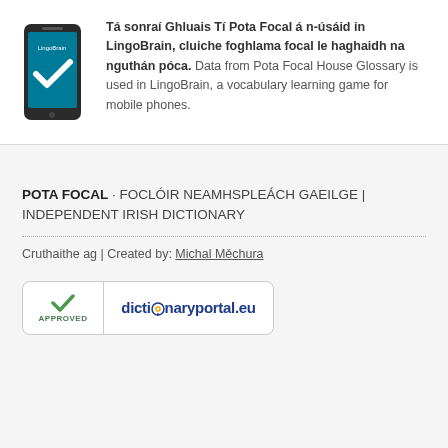[Figure (illustration): Smartphone icon with LingoBrain app and a blue checkmark on screen]
Tá sonraí Ghluais Tí Pota Focal á n-úsáid in LingoBrain, cluiche foghlama focal le haghaidh na nguthán póca. Data from Pota Focal House Glossary is used in LingoBrain, a vocabulary learning game for mobile phones.
POTA FOCAL · FOCLÓIR NEAMHSPLEÁCH GAEILGE | INDEPENDENT IRISH DICTIONARY
Cruthaithe ag | Created by: Michal Měchura
[Figure (logo): DictionaryPortal.eu approved badge with green checkmark and APPROVED text on left, dictionaryportal.eu logo on right]